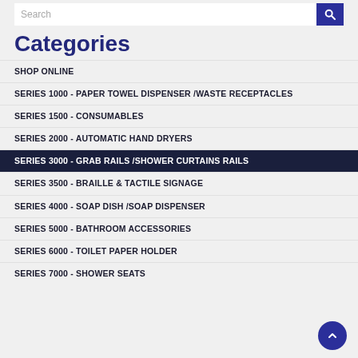Categories
SHOP ONLINE
SERIES 1000 - PAPER TOWEL DISPENSER /WASTE RECEPTACLES
SERIES 1500 - CONSUMABLES
SERIES 2000 - AUTOMATIC HAND DRYERS
SERIES 3000 - GRAB RAILS /SHOWER CURTAINS RAILS
SERIES 3500 - BRAILLE & TACTILE SIGNAGE
SERIES 4000 - SOAP DISH /SOAP DISPENSER
SERIES 5000 - BATHROOM ACCESSORIES
SERIES 6000 - TOILET PAPER HOLDER
SERIES 7000 - SHOWER SEATS